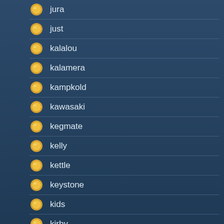jura
just
kalalou
kalamera
kampkold
kawasaki
kegmate
kelly
kettle
keystone
kids
kirby
klarstein
knapp
knapp-monarch